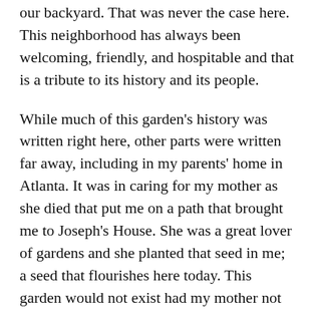our backyard. That was never the case here. This neighborhood has always been welcoming, friendly, and hospitable and that is a tribute to its history and its people.
While much of this garden's history was written right here, other parts were written far away, including in my parents' home in Atlanta. It was in caring for my mother as she died that put me on a path that brought me to Joseph's House. She was a great lover of gardens and she planted that seed in me; a seed that flourishes here today. This garden would not exist had my mother not lived and died as she did. One never knows the legacy of one's life and my mother would never have imagined this as a part of hers. I trust that she is watching us today. I am grateful that my father and stepmother